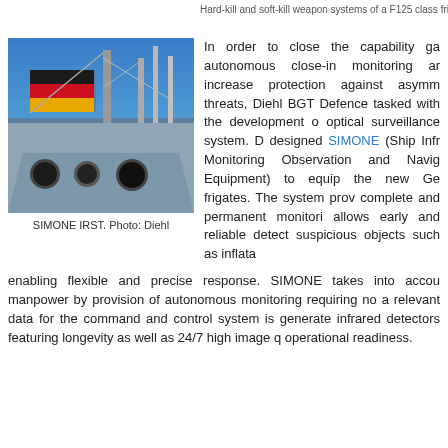Hard-kill and soft-kill weapon systems of a F125 class frigate. Hi
[Figure (photo): Photo of SIMONE IRST mounted on a ship bow, with a German flag (black-red-gold with eagle) flying above the sensor turret against a blue sky.]
SIMONE IRST. Photo: Diehl
In order to close the capability ga autonomous close-in monitoring ar increase protection against asymm threats, Diehl BGT Defence tasked with the development o optical surveillance system. D designed SIMONE (Ship Infr Monitoring Observation and Navig Equipment) to equip the new Ge frigates. The system prov complete and permanent monitori allows early and reliable detect suspicious objects such as inflata enabling flexible and precise response. SIMONE takes into accou manpower by provision of autonomous monitoring requiring no a relevant data for the command and control system is generate infrared detectors featuring longevity as well as 24/7 high image q operational readiness.